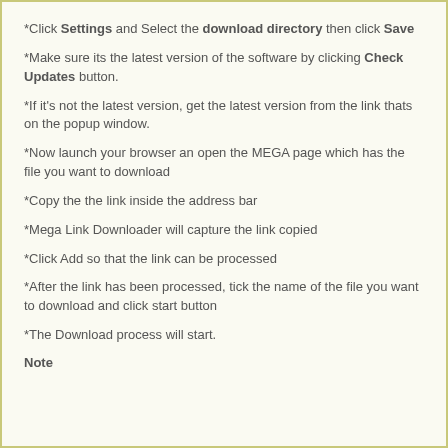*Click Settings and Select the download directory then click Save
*Make sure its the latest version of the software by clicking Check Updates button.
*If it's not the latest version, get the latest version from the link thats on the popup window.
*Now launch your browser an open the MEGA page which has the file you want to download
*Copy the the link inside the address bar
*Mega Link Downloader will capture the link copied
*Click Add so that the link can be processed
*After the link has been processed, tick the name of the file you want to download and click start button
*The Download process will start.
Note